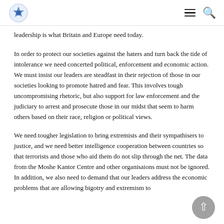[Logo] [Menu icon] [Search icon]
leadership is what Britain and Europe need today.
In order to protect our societies against the haters and turn back the tide of intolerance we need concerted political, enforcement and economic action. We must insist our leaders are steadfast in their rejection of those in our societies looking to promote hatred and fear. This involves tough uncompromising rhetoric, but also support for law enforcement and the judiciary to arrest and prosecute those in our midst that seem to harm others based on their race, religion or political views.
We need tougher legislation to bring extremists and their sympathisers to justice, and we need better intelligence cooperation between countries so that terrorists and those who aid them do not slip through the net. The data from the Moshe Kantor Centre and other organisaions must not be ignored. In addition, we also need to demand that our leaders address the economic problems that are allowing bigotry and extremism to